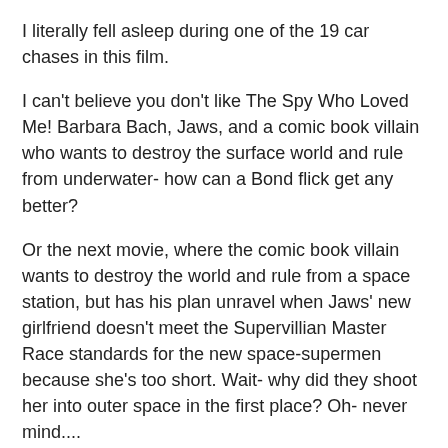I literally fell asleep during one of the 19 car chases in this film.
I can't believe you don't like The Spy Who Loved Me! Barbara Bach, Jaws, and a comic book villain who wants to destroy the surface world and rule from underwater- how can a Bond flick get any better?
Or the next movie, where the comic book villain wants to destroy the world and rule from a space station, but has his plan unravel when Jaws' new girlfriend doesn't meet the Supervillian Master Race standards for the new space-supermen because she's too short. Wait- why did they shoot her into outer space in the first place? Oh- never mind....